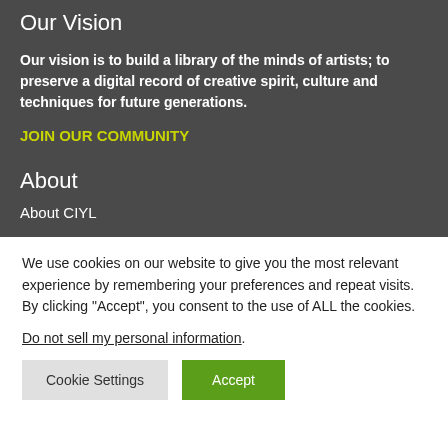Our Vision
Our vision is to build a library of the minds of artists; to preserve a digital record of creative spirit, culture and techniques for future generations.
JOIN OUR COMMUNITY
About
About CIYL
We use cookies on our website to give you the most relevant experience by remembering your preferences and repeat visits. By clicking “Accept”, you consent to the use of ALL the cookies.
Do not sell my personal information.
Cookie Settings
Accept